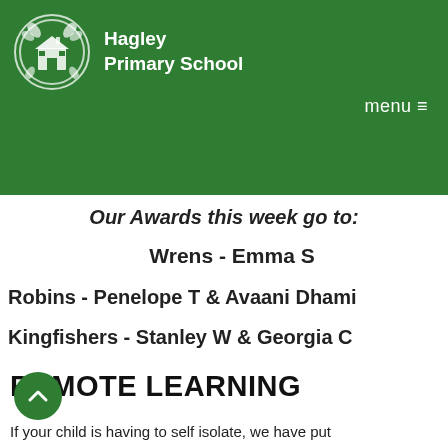[Figure (logo): Hagley Primary School logo with school building illustration in a circle with decorative leaves]
Hagley Primary School
Our Awards this week go to:
Wrens - Emma S
Robins - Penelope T & Avaani Dhami
Kingfishers - Stanley W & Georgia C
REMOTE LEARNING
If your child is having to self isolate, we have put